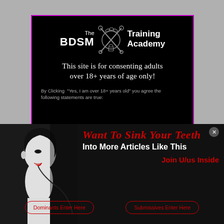[Figure (screenshot): Age verification modal for The BDSM Training Academy website, black background with purple border, showing logo and disclaimer text]
The BDSM Training Academy
This site is for consenting adults over 18+ years of age only!
By Clicking "Yes, I am over 18+ years old" you agree the following statements are true:
[Figure (infographic): Advertisement banner for BDSM Training Academy with a black-and-white photo of a woman with red lips, red italic headline 'Want To Sink Your Teeth' and two call-to-action buttons for Dominants and Submissives]
Want To Sink Your Teeth Into More Articles Like This
Join U/us Inside
Dominants Enter Here
Submissives Enter Here